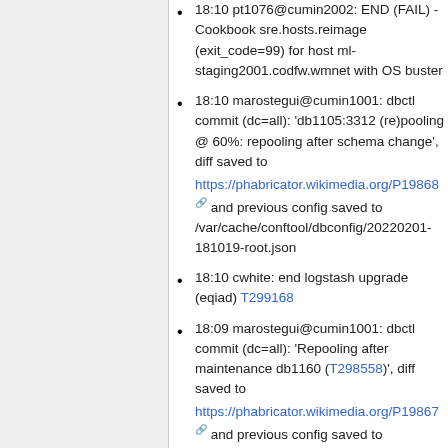18:10 pt1076@cumin2002: END (FAIL) - Cookbook sre.hosts.reimage (exit_code=99) for host ml-staging2001.codfw.wmnet with OS buster
18:10 marostegui@cumin1001: dbctl commit (dc=all): 'db1105:3312 (re)pooling @ 60%: repooling after schema change', diff saved to https://phabricator.wikimedia.org/P19868 and previous config saved to /var/cache/conftool/dbconfig/20220201-181019-root.json
18:10 cwhite: end logstash upgrade (eqiad) T299168
18:09 marostegui@cumin1001: dbctl commit (dc=all): 'Repooling after maintenance db1160 (T298558)', diff saved to https://phabricator.wikimedia.org/P19867 and previous config saved to